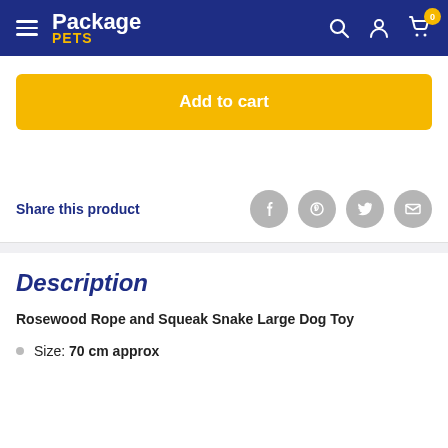Package PETS
Add to cart
Share this product
Description
Rosewood Rope and Squeak Snake Large Dog Toy
Size: 70 cm approx